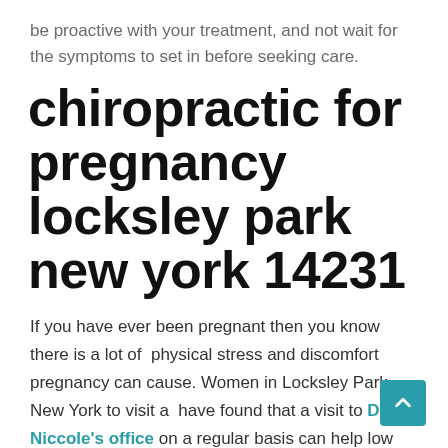be proactive with your treatment, and not wait for the symptoms to set in before seeking care.
chiropractic for pregnancy locksley park new york 14231
If you have ever been pregnant then you know there is a lot of  physical stress and discomfort pregnancy can cause. Women in Locksley Park New York to visit a  have found that a visit to Dr. Niccole's office on a regular basis can help low back pain. Also a qualified pregnancy chiropractor can help  with other issues like leg cramps sciatica, and  even constipation.  Dr. Niccole at Complete Care Chiropractic is uniquely qualified because as a